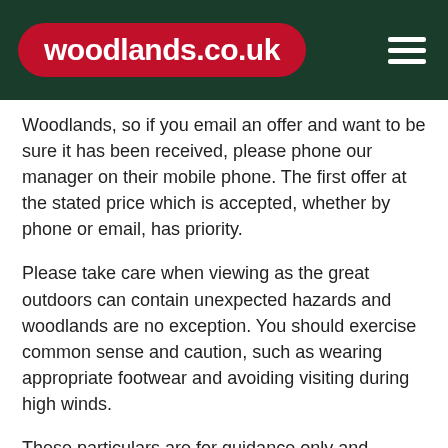woodlands.co.uk
Woodlands, so if you email an offer and want to be sure it has been received, please phone our manager on their mobile phone. The first offer at the stated price which is accepted, whether by phone or email, has priority.
Please take care when viewing as the great outdoors can contain unexpected hazards and woodlands are no exception. You should exercise common sense and caution, such as wearing appropriate footwear and avoiding visiting during high winds.
These particulars are for guidance only and, though believed to be correct, do not form part of any contract. Woodland Investment Management Ltd hereby give